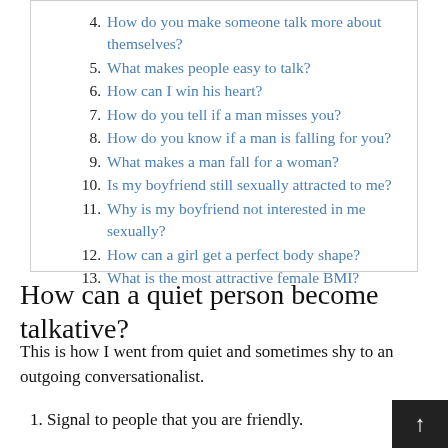4. How do you make someone talk more about themselves?
5. What makes people easy to talk?
6. How can I win his heart?
7. How do you tell if a man misses you?
8. How do you know if a man is falling for you?
9. What makes a man fall for a woman?
10. Is my boyfriend still sexually attracted to me?
11. Why is my boyfriend not interested in me sexually?
12. How can a girl get a perfect body shape?
13. What is the most attractive female BMI?
How can a quiet person become talkative?
This is how I went from quiet and sometimes shy to an outgoing conversationalist.
1. Signal to people that you are friendly.